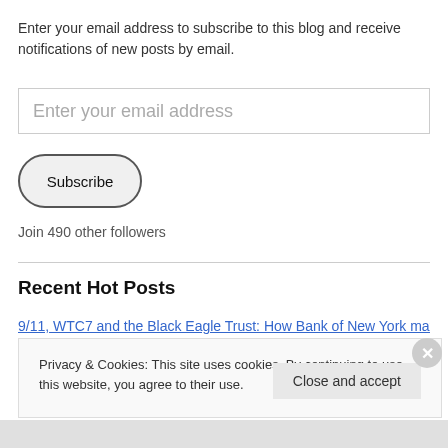Enter your email address to subscribe to this blog and receive notifications of new posts by email.
Enter your email address
Subscribe
Join 490 other followers
Recent Hot Posts
9/11, WTC7 and the Black Eagle Trust: How Bank of New York may
Privacy & Cookies: This site uses cookies. By continuing to use this website, you agree to their use.
To find out more, including how to control cookies, see here: Cookie Policy
Close and accept